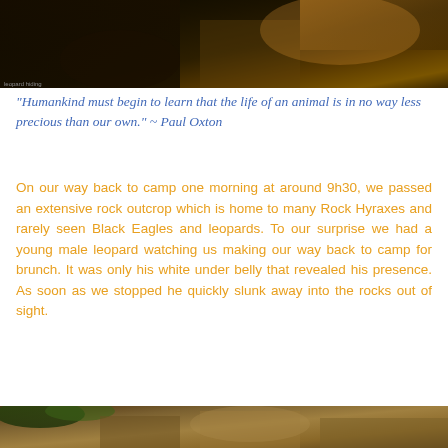[Figure (photo): Dark cave or rock formation photograph with warm amber and gold tones, partially visible animal or rock texture in background]
“Humankind must begin to learn that the life of an animal is in no way less precious than our own.” ~ Paul Oxton
On our way back to camp one morning at around 9h30, we passed an extensive rock outcrop which is home to many Rock Hyraxes and rarely seen Black Eagles and leopards. To our surprise we had a young male leopard watching us making our way back to camp for brunch. It was only his white under belly that revealed his presence. As soon as we stopped he quickly slunk away into the rocks out of sight.
[Figure (photo): Rock outcrop or boulder landscape photograph with warm brown and tan tones, green vegetation visible at top left]